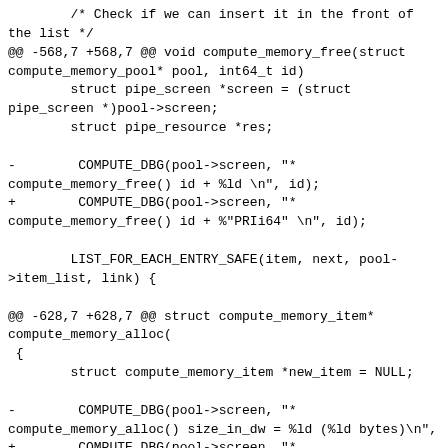/* Check if we can insert it in the front of the list */
@@ -568,7 +568,7 @@ void compute_memory_free(struct compute_memory_pool* pool, int64_t id)
        struct pipe_screen *screen = (struct pipe_screen *)pool->screen;
        struct pipe_resource *res;

-        COMPUTE_DBG(pool->screen, "* compute_memory_free() id + %ld \n", id);
+        COMPUTE_DBG(pool->screen, "* compute_memory_free() id + %"PRIi64" \n", id);

        LIST_FOR_EACH_ENTRY_SAFE(item, next, pool->item_list, link) {

@@ -628,7 +628,7 @@ struct compute_memory_item* compute_memory_alloc(
 {
        struct compute_memory_item *new_item = NULL;

-        COMPUTE_DBG(pool->screen, "* compute_memory_alloc() size_in_dw = %ld (%ld bytes)\n",
+        COMPUTE_DBG(pool->screen, "* compute_memory_alloc() size_in_dw = %"PRIi64" (%"PRIi64" bytes)\n",
                             size_in_dw, 4 * size_in_dw);

        new_item = (struct compute_memory_item *)
--